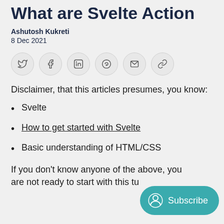What are Svelte Action
Ashutosh Kukreti
8 Dec 2021
[Figure (infographic): Row of six social sharing icon buttons in circles: Twitter, Facebook, LinkedIn, Pinterest, Email, Link]
Disclaimer, that this articles presumes, you know:
Svelte
How to get started with Svelte
Basic understanding of HTML/CSS
If you don't know anyone of the above, you are not ready to start with this tu...
[Figure (other): Subscribe button widget in teal/cyan color with a user avatar icon and 'Subscribe' text]